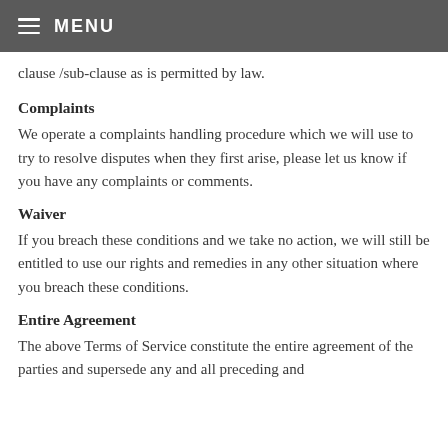MENU
clause /sub-clause as is permitted by law.
Complaints
We operate a complaints handling procedure which we will use to try to resolve disputes when they first arise, please let us know if you have any complaints or comments.
Waiver
If you breach these conditions and we take no action, we will still be entitled to use our rights and remedies in any other situation where you breach these conditions.
Entire Agreement
The above Terms of Service constitute the entire agreement of the parties and supersede any and all preceding and